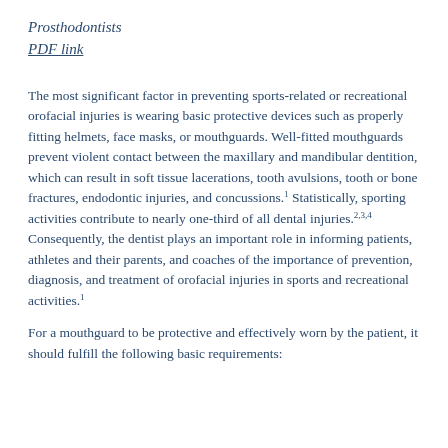Prosthodontists
PDF link
The most significant factor in preventing sports-related or recreational orofacial injuries is wearing basic protective devices such as properly fitting helmets, face masks, or mouthguards. Well-fitted mouthguards prevent violent contact between the maxillary and mandibular dentition, which can result in soft tissue lacerations, tooth avulsions, tooth or bone fractures, endodontic injuries, and concussions.1 Statistically, sporting activities contribute to nearly one-third of all dental injuries.2,3,4 Consequently, the dentist plays an important role in informing patients, athletes and their parents, and coaches of the importance of prevention, diagnosis, and treatment of orofacial injuries in sports and recreational activities.1
For a mouthguard to be protective and effectively worn by the patient, it should fulfill the following basic requirements: